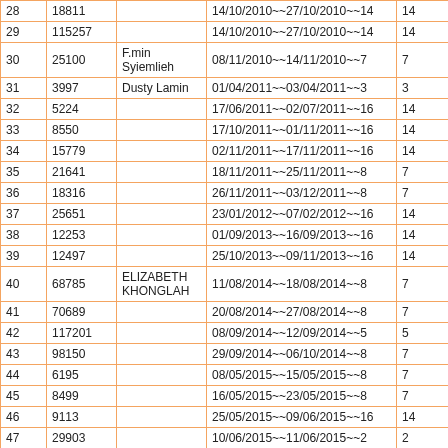| 28 | 18811 |  | 14/10/2010~~27/10/2010~~14 | 14 |
| 29 | 115257 |  | 14/10/2010~~27/10/2010~~14 | 14 |
| 30 | 25100 | F.min Syiemlieh | 08/11/2010~~14/11/2010~~7 | 7 |
| 31 | 3997 | Dusty Lamin | 01/04/2011~~03/04/2011~~3 | 3 |
| 32 | 5224 |  | 17/06/2011~~02/07/2011~~16 | 14 |
| 33 | 8550 |  | 17/10/2011~~01/11/2011~~16 | 14 |
| 34 | 15779 |  | 02/11/2011~~17/11/2011~~16 | 14 |
| 35 | 21641 |  | 18/11/2011~~25/11/2011~~8 | 7 |
| 36 | 18316 |  | 26/11/2011~~03/12/2011~~8 | 7 |
| 37 | 25651 |  | 23/01/2012~~07/02/2012~~16 | 14 |
| 38 | 12253 |  | 01/09/2013~~16/09/2013~~16 | 14 |
| 39 | 12497 |  | 25/10/2013~~09/11/2013~~16 | 14 |
| 40 | 68785 | ELIZABETH KHONGLAH | 11/08/2014~~18/08/2014~~8 | 7 |
| 41 | 70689 |  | 20/08/2014~~27/08/2014~~8 | 7 |
| 42 | 117201 |  | 08/09/2014~~12/09/2014~~5 | 5 |
| 43 | 98150 |  | 29/09/2014~~06/10/2014~~8 | 7 |
| 44 | 6195 |  | 08/05/2015~~15/05/2015~~8 | 7 |
| 45 | 8499 |  | 16/05/2015~~23/05/2015~~8 | 7 |
| 46 | 9113 |  | 25/05/2015~~09/06/2015~~16 | 14 |
| 47 | 29903 |  | 10/06/2015~~11/06/2015~~2 | 2 |
| 48 | 47639 |  | 17/09/2015~~18/10/2015~~32 | 28 |
| 49 | 74012 |  | 21/12/2015~~22/12/2015~~2 | 2 |
| 50 | 80965 |  | 15/01/2016~~11/02/2016~~28 | 24 |
| 51 | 100577 |  | 24/02/2016~~12/03/2016~~18 | 16 |